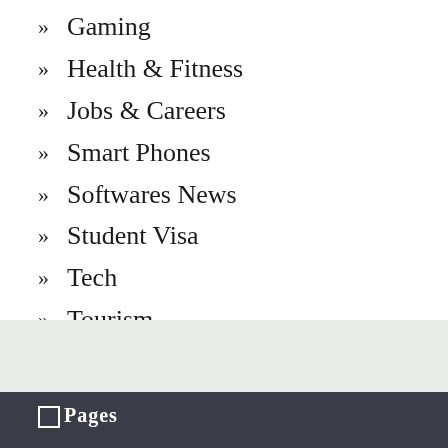Gaming
Health & Fitness
Jobs & Careers
Smart Phones
Softwares News
Student Visa
Tech
Tourism
Pages